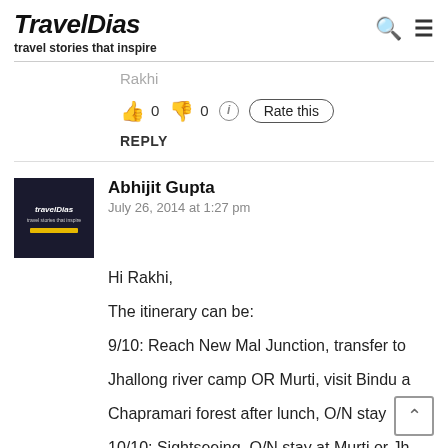TravelDias — travel stories that inspire
Rakhi
👍 0 👎 0 ℹ Rate this
REPLY
Abhijit Gupta
July 26, 2014 at 1:27 pm
Hi Rakhi,

The itinerary can be:

9/10: Reach New Mal Junction, transfer to Jhallong river camp OR Murti, visit Bindu & Chapramari forest after lunch, O/N stay
10/10: Sightseeing, O/N stay at Murti or Jhallong